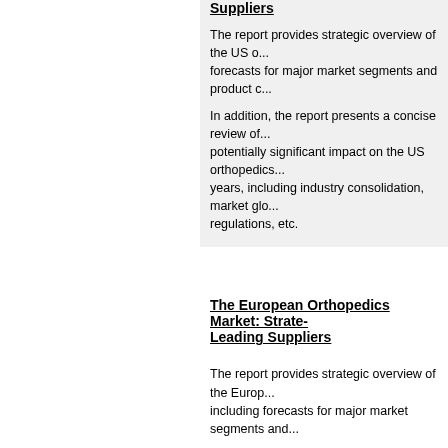Suppliers
The report provides strategic overview of the US o... forecasts for major market segments and product c...
In addition, the report presents a concise review of... potentially significant impact on the US orthopedics... years, including industry consolidation, market glo... regulations, etc.
The European Orthopedics Market: Strate... Leading Suppliers
The report provides strategic overview of the Euro... including forecasts for major market segments and...
In addition, the report presents a concise review of... potentially significant impact on the European ortho... next five years, including industry consolidation, ma... environmental regulations, etc.
Analysis of the United States Bone Grafts... Substitutes Market
This research service considers products and com... bone graft substitutes market in the United States.... witness many technology advancements in the nex...